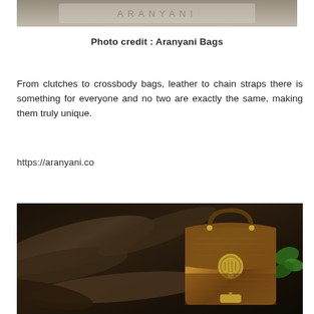[Figure (photo): Partial view of a product photo at the top of the page, appears to be a leather bag on a dark background]
Photo credit : Aranyani Bags
From clutches to crossbody bags, leather to chain straps there is something for everyone and no two are exactly the same, making them truly unique.
https://aranyani.co
[Figure (photo): Photograph of a decorative leather handbag with gold hardware clasp, placed against a backdrop of dark tree roots and green leaves]